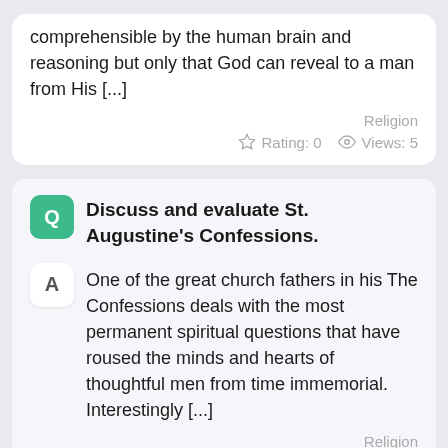comprehensible by the human brain and reasoning but only that God can reveal to a man from His [...]
Religion
Rating: 0   Views: 5
Discuss and evaluate St. Augustine's Confessions.
One of the great church fathers in his The Confessions deals with the most permanent spiritual questions that have roused the minds and hearts of thoughtful men from time immemorial. Interestingly [...]
Religion
Rating: 0   Views: 13